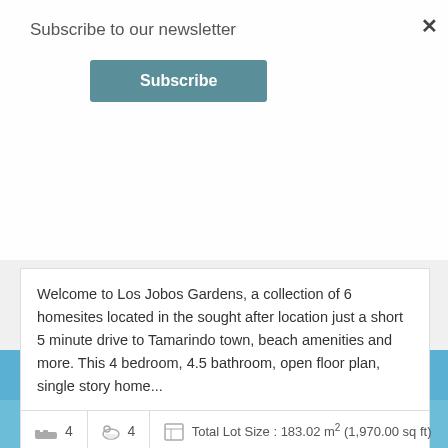Subscribe to our newsletter
Subscribe
Welcome to Los Jobos Gardens, a collection of 6 homesites located in the sought after location just a short 5 minute drive to Tamarindo town, beach amenities and more. This 4 bedroom, 4.5 bathroom, open floor plan, single story home...
| 🛏 4 | 🛁 4 | Total Lot Size : 183.02 m² (1,970.00 sq ft) |
| $629,000 |  |  |
[Figure (photo): Tropical beach scene with palm leaf fronds against a blue sky with a white cloud]